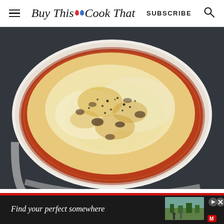Buy This Cook That — SUBSCRIBE
[Figure (photo): A round white baking dish filled with a cheesy baked pasta or dip, topped with melted mozzarella and sprinkled with black pepper and herbs, on a dark background.]
[Figure (screenshot): Advertisement banner: dark background with red stripe at top. Text reads 'Find your perfect somewhere' with a thumbnail of a hotel/resort scene on the right. Play and close buttons visible. Marriott Bonvoy logo at bottom right.]